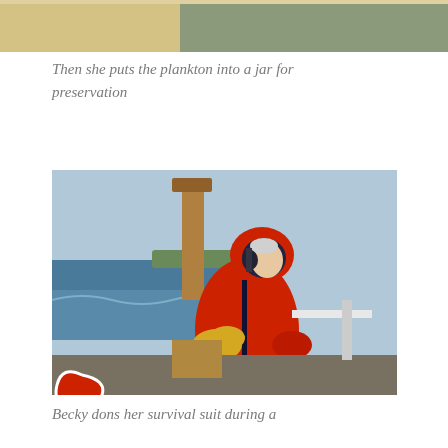[Figure (photo): Partial image at top of page, cropped — appears to be an outdoor scene, partially visible]
Then she puts the plankton into a jar for preservation
[Figure (photo): A person wearing a red survival/immersion suit with a hood and large yellow gloves, standing on the deck of a research vessel with ocean and shoreline visible in the background]
Becky dons her survival suit during a